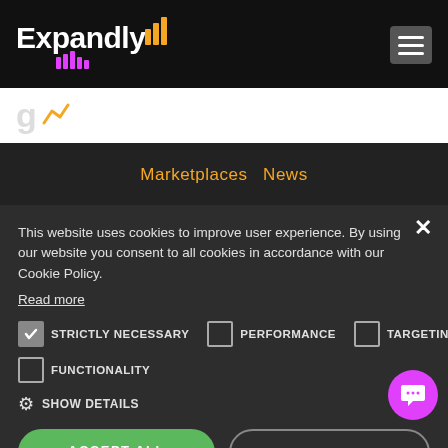[Figure (logo): Expandly logo with bar chart icon in orange/yellow and pink/magenta bars, white text on black background]
[Figure (screenshot): Hamburger menu icon (three horizontal lines) in a gray box]
Marketplaces  News
This website uses cookies to improve user experience. By using our website you consent to all cookies in accordance with our Cookie Policy.
Read more
STRICTLY NECESSARY
PERFORMANCE
TARGETING
FUNCTIONALITY
SHOW DETAILS
ACCEPT ALL
DECLINE ALL
POWERED BY COOKIE-SCRIPT